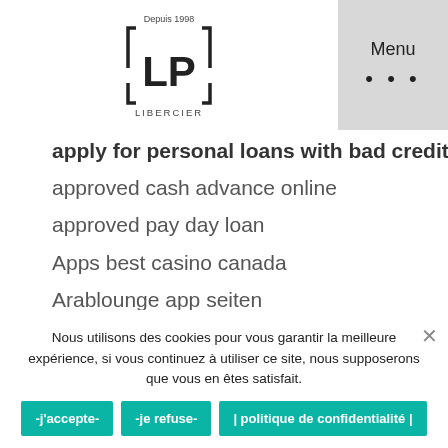[Figure (logo): LP Libercier logo with text 'Depuis 1998' above and 'LIBERCIER' below, in a bracket frame]
apply for personal loans with bad credit
approved cash advance online
approved pay day loan
Apps best casino canada
Arablounge app seiten
arablounge fr review
arablounge sign in
Arablounge web
Arablounge zdarma
ardent dating
ardent it reviews
Nous utilisons des cookies pour vous garantir la meilleure expérience, si vous continuez à utiliser ce site, nous supposerons que vous en êtes satisfait.
-j'accepte-
-je refuse-
| politique de confidentialité |